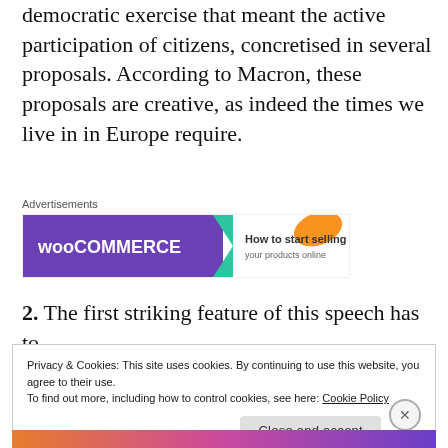democratic exercise that meant the active participation of citizens, concretised in several proposals. According to Macron, these proposals are creative, as indeed the times we live in in Europe require.
[Figure (other): WooCommerce advertisement banner showing 'How to start selling' with purple background and a green arrow shape]
2. The first striking feature of this speech has to
Privacy & Cookies: This site uses cookies. By continuing to use this website, you agree to their use.
To find out more, including how to control cookies, see here: Cookie Policy